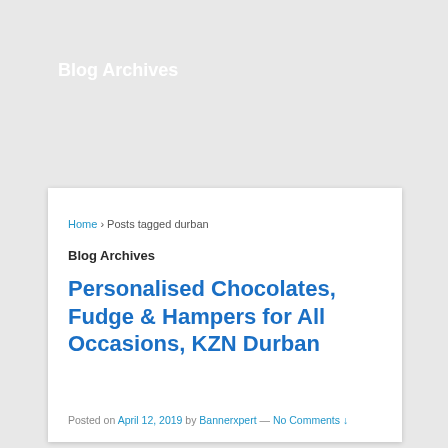Blog Archives
Home › Posts tagged durban
Blog Archives
Personalised Chocolates, Fudge & Hampers for All Occasions, KZN Durban
Posted on April 12, 2019 by Bannerxpert — No Comments ↓